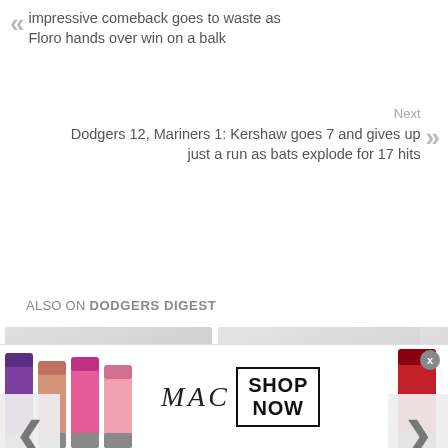impressive comeback goes to waste as Floro hands over win on a balk
Next
Dodgers 12, Mariners 1: Kershaw goes 7 and gives up just a run as bats explode for 17 hits
ALSO ON DODGERS DIGEST
[Figure (screenshot): Article card: hours ago • 54 comments - Mets 2, Dodgers 1: deGrom outduels ...]
[Figure (screenshot): Article card: a day ago • 27 comments - The first 128 games of Freddie ...]
[Figure (screenshot): Partial article card cropped on right edge]
[Figure (photo): MAC cosmetics advertisement showing lipsticks, MAC logo, and SHOP NOW button]